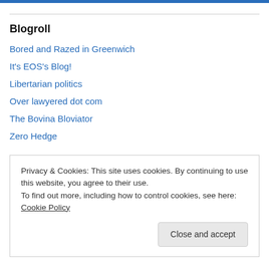Blogroll
Bored and Razed in Greenwich
It's EOS's Blog!
Libertarian politics
Over lawyered dot com
The Bovina Bloviator
Zero Hedge
Media
Privacy & Cookies: This site uses cookies. By continuing to use this website, you agree to their use. To find out more, including how to control cookies, see here: Cookie Policy
Close and accept
CT Sunlight – who's got his snout in the public trough